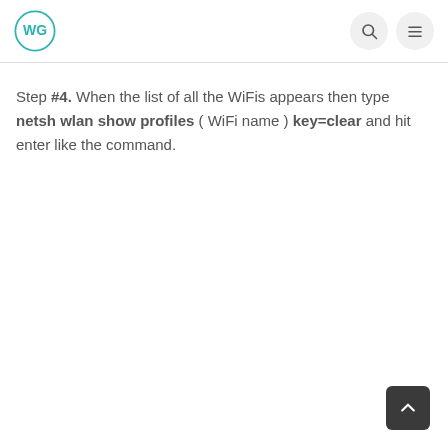WG logo with search and menu icons
Step #4. When the list of all the WiFis appears then type netsh wlan show profiles ( WiFi name ) key=clear and hit enter like the command.